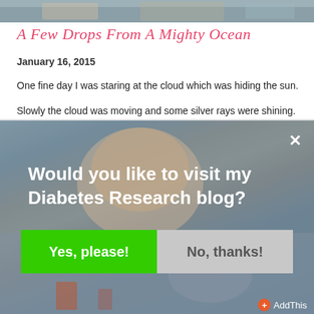[Figure (photo): Top banner photo of a scene, partially visible at top of page]
A Few Drops From A Mighty Ocean
January 16, 2015
One fine day I was staring at the cloud which was hiding the sun.
Slowly the cloud was moving and some silver rays were shining.
[Figure (screenshot): Modal popup overlay on blurred photo background of a child. Contains text 'Would you like to visit my Diabetes Research blog?' with two buttons: 'Yes, please!' (green) and 'No, thanks!' (gray). Has a close X button top right and AddThis widget bottom right.]